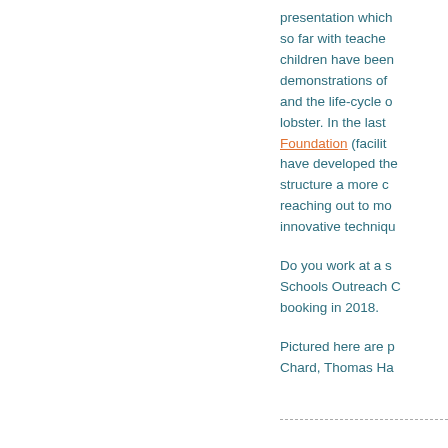presentation which so far with teachers children have been demonstrations of and the life-cycle of lobster. In the last Foundation (facilit have developed the structure a more c reaching out to mo innovative techniqu
Do you work at a s Schools Outreach C booking in 2018.
Pictured here are p Chard, Thomas Ha